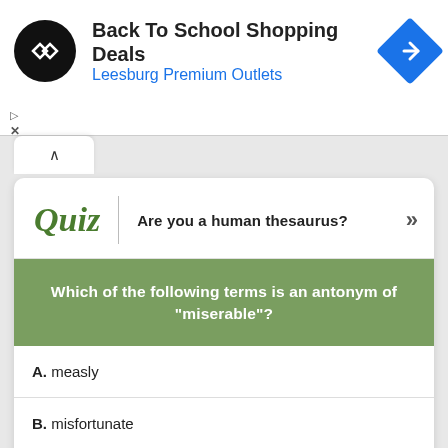[Figure (logo): Advertisement banner: black circular logo with double arrow symbol, text 'Back To School Shopping Deals' and 'Leesburg Premium Outlets' in blue, blue diamond navigation icon on right]
Back To School Shopping Deals
Leesburg Premium Outlets
Quiz | Are you a human thesaurus? »
Which of the following terms is an antonym of "miserable"?
A. measly
B. misfortunate
C. pathetic